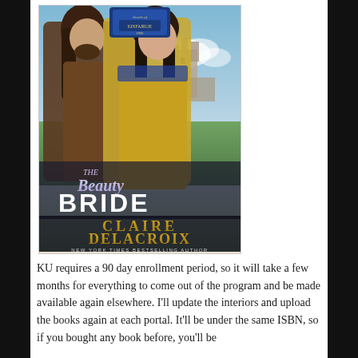[Figure (photo): Book cover for 'The Beauty Bride' by Claire Delacroix. Shows a man with long dark hair and a woman with dark hair in medieval clothing, with a castle in the background. Text reads: 'THE Beauty BRIDE' and 'CLAIRE DELACROIX NEW YORK TIMES BESTSELLING AUTHOR'. Has a badge at top reading 'Jewels of Kinfairlie ONE'.]
KU requires a 90 day enrollment period, so it will take a few months for everything to come out of the program and be made available again elsewhere. I'll update the interiors and upload the books again at each portal. It'll be under the same ISBN, so if you bought any book before, you'll be